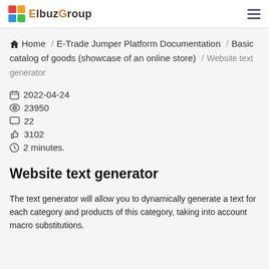ElbuzGroup [logo] [hamburger menu]
Home / E-Trade Jumper Platform Documentation / Basic catalog of goods (showcase of an online store) / Website text generator
2022-04-24
23950
22
3102
2 minutes.
Website text generator
The text generator will allow you to dynamically generate a text for each category and products of this category, taking into account macro substitutions.